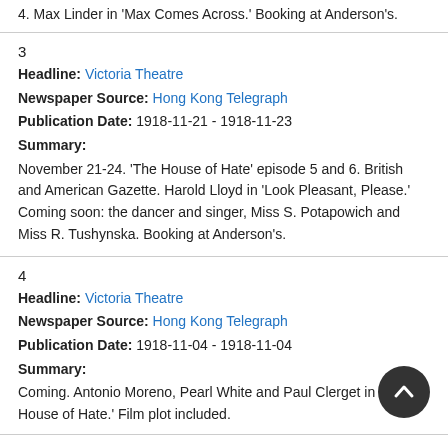4. Max Linder in 'Max Comes Across.' Booking at Anderson's.
3
Headline: Victoria Theatre
Newspaper Source: Hong Kong Telegraph
Publication Date: 1918-11-21 - 1918-11-23
Summary:
November 21-24. 'The House of Hate' episode 5 and 6. British and American Gazette. Harold Lloyd in 'Look Pleasant, Please.' Coming soon: the dancer and singer, Miss S. Potapowich and Miss R. Tushynska. Booking at Anderson's.
4
Headline: Victoria Theatre
Newspaper Source: Hong Kong Telegraph
Publication Date: 1918-11-04 - 1918-11-04
Summary:
Coming. Antonio Moreno, Pearl White and Paul Clerget in 'The House of Hate.' Film plot included.